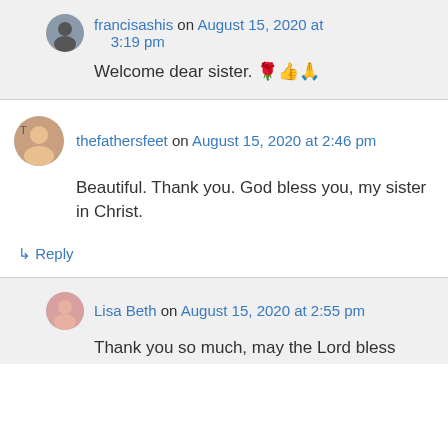francisashis on August 15, 2020 at 3:19 pm
Welcome dear sister. 🌹👍🙏
thefathersfeet on August 15, 2020 at 2:46 pm
Beautiful. Thank you. God bless you, my sister in Christ.
↳ Reply
Lisa Beth on August 15, 2020 at 2:55 pm
Thank you so much, may the Lord bless...